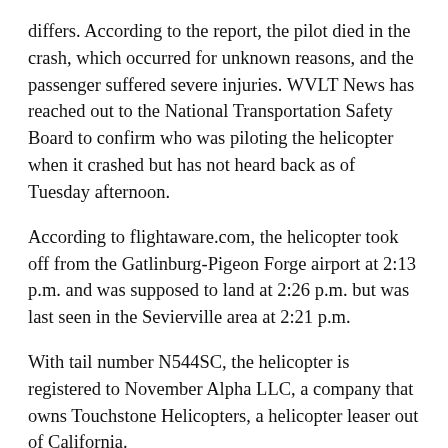differs. According to the report, the pilot died in the crash, which occurred for unknown reasons, and the passenger suffered severe injuries. WVLT News has reached out to the National Transportation Safety Board to confirm who was piloting the helicopter when it crashed but has not heard back as of Tuesday afternoon.
According to flightaware.com, the helicopter took off from the Gatlinburg-Pigeon Forge airport at 2:13 p.m. and was supposed to land at 2:26 p.m. but was last seen in the Sevierville area at 2:21 p.m.
With tail number N544SC, the helicopter is registered to November Alpha LLC, a company that owns Touchstone Helicopters, a helicopter leaser out of California.
Witnesses on the scene in December told WVLT News that the helicopter crashed near Baxter’s Orchard and was surrounded by “at least 40 fire trucks” when it first occurred.
A witness who said they live less than a tenth of a mile from the crash site spoke to WVLT News about the incident.